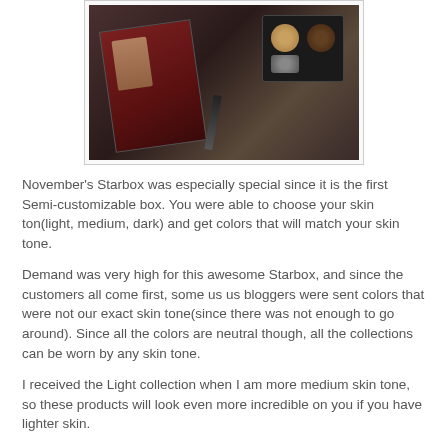[Figure (photo): Photo of November's Starbox contents including a makeup palette with brown/gold eyeshadows, a magazine/booklet featuring a woman's face, and an eyeliner pencil, arranged in a box.]
November's Starbox was especially special since it is the first Semi-customizable box. You were able to choose your skin ton(light, medium, dark) and get colors that will match your skin tone.
Demand was very high for this awesome Starbox, and since the customers all come first, some us us bloggers were sent colors that were not our exact skin tone(since there was not enough to go around). Since all the colors are neutral though, all the collections can be worn by any skin tone.
I received the Light collection when I am more medium skin tone, so these products will look even more incredible on you if you have lighter skin.